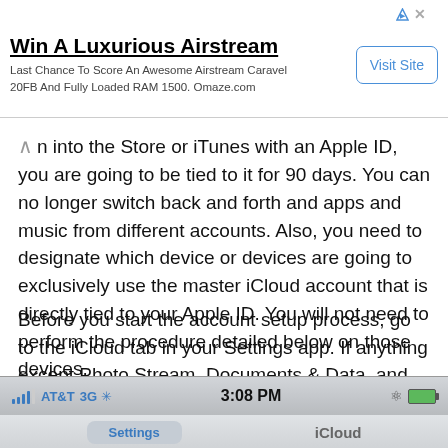[Figure (screenshot): Advertisement banner for Airstream with Visit Site button]
n into the Store or iTunes with an Apple ID, you are going to be tied to it for 90 days. You can no longer switch back and forth and apps and music from different accounts. Also, you need to designate which device or devices are going to exclusively use the master iCloud account that is directly tied to your Apple ID. You will not need to perform the procedure detailed below on those devices.
Before you start the account setup process, go to the iCloud tab in your Settings app. If anything except Photo Stream, Documents & Data, and Find My iPhone are selected, turn them off.
[Figure (screenshot): iPhone status bar showing AT&T 3G signal, 3:08 PM time, Bluetooth icon and battery, with iCloud settings screen below]